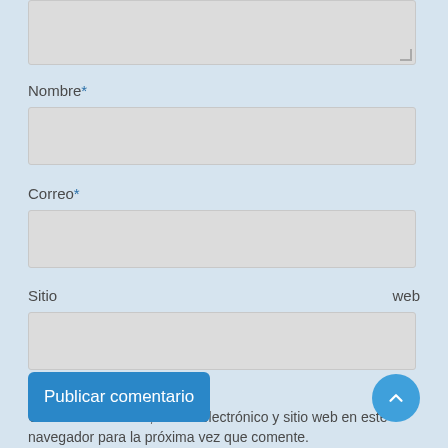[Figure (screenshot): Partial textarea input field at top of page]
Nombre*
[Figure (screenshot): Empty text input field for Nombre]
Correo*
[Figure (screenshot): Empty text input field for Correo]
Sitio web
[Figure (screenshot): Empty text input field for Sitio web]
Guardar mi nombre, correo electrónico y sitio web en este navegador para la próxima vez que comente.
Publicar comentario